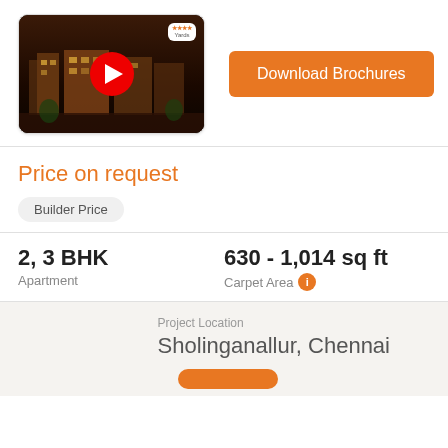[Figure (screenshot): YouTube video thumbnail showing a residential apartment building at night with a red play button in the center and a small logo badge in the top right corner]
Download Brochures
Price on request
Builder Price
2, 3 BHK
Apartment
630 - 1,014 sq ft
Carpet Area
Project Location
Sholinganallur, Chennai